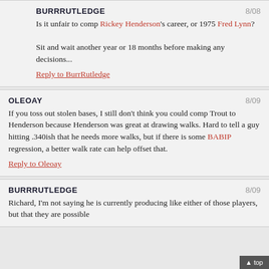BURRRUTLEDGE  8/08
Is it unfair to comp Rickey Henderson's career, or 1975 Fred Lynn?

Sit and wait another year or 18 months before making any decisions...
Reply to BurrRutledge
OLEOAY  8/09
If you toss out stolen bases, I still don't think you could comp Trout to Henderson because Henderson was great at drawing walks. Hard to tell a guy hitting .340ish that he needs more walks, but if there is some BABIP regression, a better walk rate can help offset that.
Reply to Oleoay
BURRRUTLEDGE  8/09
Richard, I'm not saying he is currently producing like either of those players, but that they are possible...